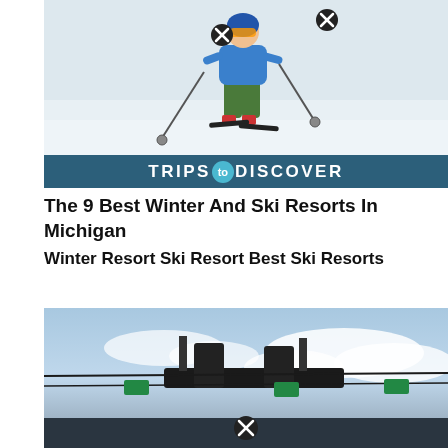[Figure (photo): Skier in blue jacket and green pants skiing on snow slope with ski poles. Two circular close/remove buttons overlaid on the image. The Trips to Discover logo bar is at the bottom of the image.]
The 9 Best Winter And Ski Resorts In Michigan
Winter Resort Ski Resort Best Ski Resorts
[Figure (photo): Ski lift machinery against a blue sky with clouds. A circular close/remove button is overlaid on the lower center of the image.]